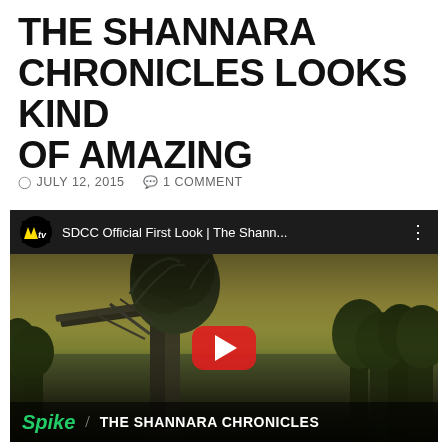THE SHANNARA CHRONICLES LOOKS KIND OF AMAZING
JULY 12, 2015  1 COMMENT
[Figure (screenshot): YouTube video embed thumbnail showing the MTV channel SDCC Official First Look | The Shann... video for The Shannara Chronicles. A dark fantasy landscape with a large overgrown mechanical/creature structure. Bottom bar shows Spike logo and THE SHANNARA CHRONICLES text. A red YouTube play button is centered on the thumbnail.]